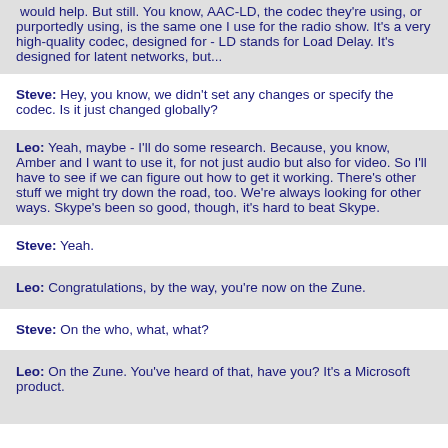would help. But still. You know, AAC-LD, the codec they're using, or purportedly using, is the same one I use for the radio show. It's a very high-quality codec, designed for - LD stands for Load Delay. It's designed for latent networks, but...
Steve: Hey, you know, we didn't set any changes or specify the codec. Is it just changed globally?
Leo: Yeah, maybe - I'll do some research. Because, you know, Amber and I want to use it, for not just audio but also for video. So I'll have to see if we can figure out how to get it working. There's other stuff we might try down the road, too. We're always looking for other ways. Skype's been so good, though, it's hard to beat Skype.
Steve: Yeah.
Leo: Congratulations, by the way, you're now on the Zune.
Steve: On the who, what, what?
Leo: On the Zune. You've heard of that, have you? It's a Microsoft product.